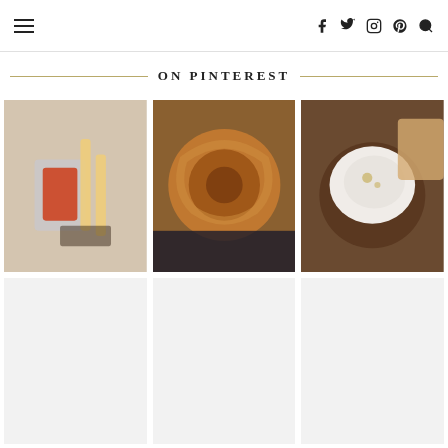Navigation header with hamburger menu and social icons: Facebook, Twitter, Instagram, Pinterest, Search
ON PINTEREST
[Figure (photo): Food photo: glass of ketchup/tomato sauce with french fries on a dark board]
[Figure (photo): Food photo: close-up of a glazed cinnamon roll / pretzel on a plate with dark floral napkin]
[Figure (photo): Food photo: bowl of ricotta cheese with olive oil and pepper, with bread slices]
[Figure (photo): Placeholder image (loading)]
[Figure (photo): Placeholder image (loading)]
[Figure (photo): Placeholder image (loading)]